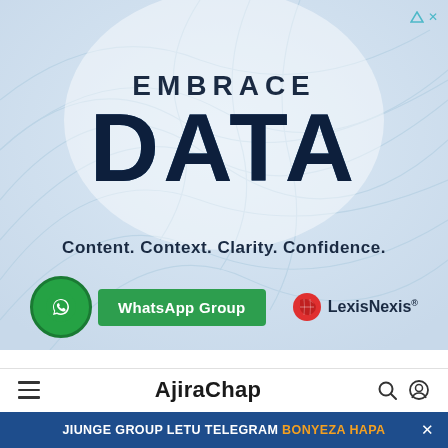[Figure (advertisement): LexisNexis advertisement banner with swirling light background pattern. Large text reads EMBRACE DATA with tagline Content. Context. Clarity. Confidence. WhatsApp Group button on bottom left, LexisNexis logo on bottom right.]
EMBRACE DATA
Content. Context. Clarity. Confidence.
WhatsApp Group
LexisNexis
AjiraChap
JIUNGE GROUP LETU TELEGRAM BONYEZA HAPA